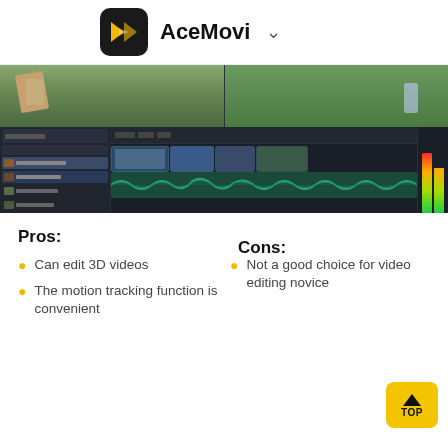AceMovi
[Figure (screenshot): Screenshot of AceMovi video editing software interface showing a video project with clips of people, a timeline with multiple video tracks, and audio waveforms on a dark UI.]
Pros:
Cons:
Can edit 3D videos
The motion tracking function is convenient
Not a good choice for video editing novice